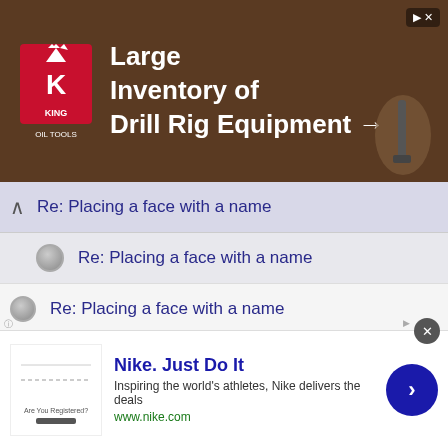[Figure (screenshot): King Oil Tools advertisement banner: 'Large Inventory of Drill Rig Equipment →' with King logo on dark brown background with drill imagery]
Re: Placing a face with a name
Re: Placing a face with a name
Re: Placing a face with a name
Re: Placing a face with a name
Re: Placing a face with a name
Re: Placing a face with a name
Re: Placing a face with a name
Re: Placing a face with a name
[Figure (screenshot): Nike advertisement: 'Nike. Just Do It' with tagline 'Inspiring the world's athletes, Nike delivers the deals' and www.nike.com URL, blue arrow button on right]